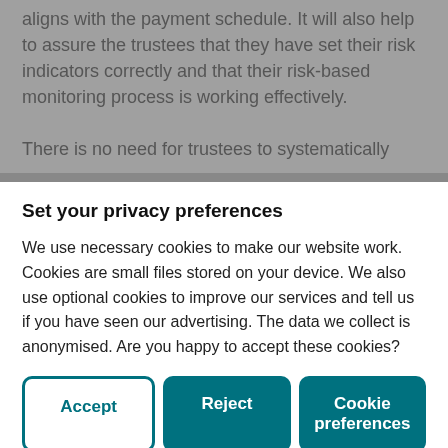aligns with the payment schedule. It will also help to assure the trustees that they have set their risk indicators correctly and that their risk-based monitoring process is working effectively.
There is no need for trustees to systematically
Set your privacy preferences
We use necessary cookies to make our website work. Cookies are small files stored on your device. We also use optional cookies to improve our services and tell us if you have seen our advertising. The data we collect is anonymised. Are you happy to accept these cookies?
information provided by the employer.
The regulator accepts that a monitoring process based on information provided by the employer may not be able to confirm deliberate underpayment or non-